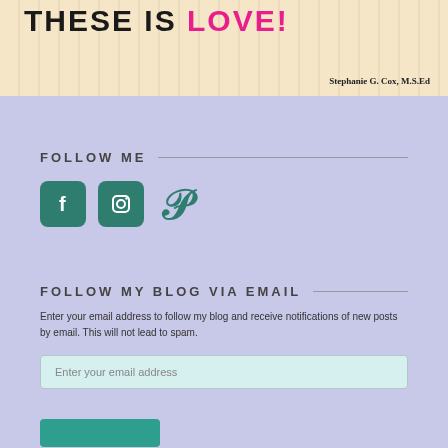[Figure (illustration): Top banner image with handwritten text 'THESE IS LOVE!' on a cream/tan striped background. 'LOVE!' is in pink/magenta. Attribution reads 'Stephanie G. Cox, M.S.Ed' in the bottom right.]
FOLLOW ME
[Figure (infographic): Three social media icons: Facebook (white F on teal rounded square), Instagram (camera icon on teal rounded square), Pinterest (P letter in teal)]
FOLLOW MY BLOG VIA EMAIL
Enter your email address to follow my blog and receive notifications of new posts by email. This will not lead to spam.
Enter your email address